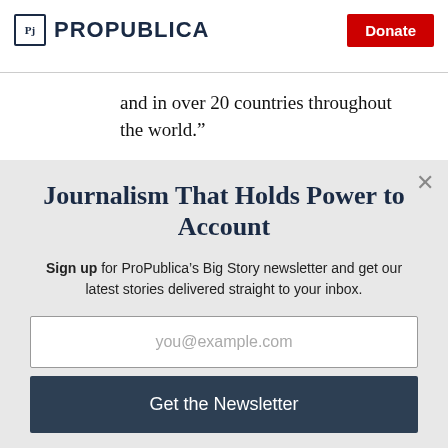ProPublica | Donate
and in over 20 countries throughout the world.”
Journalism That Holds Power to Account
Sign up for ProPublica’s Big Story newsletter and get our latest stories delivered straight to your inbox.
you@example.com
Get the Newsletter
No thanks, I’m all set
This site is protected by reCAPTCHA and the Google Privacy Policy and Terms of Service apply.